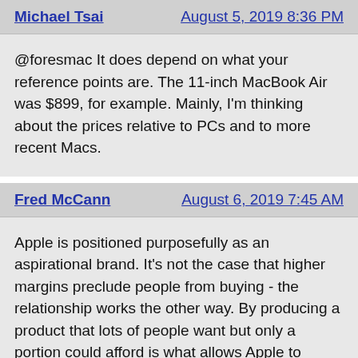Michael Tsai
August 5, 2019 8:36 PM
@foresmac It does depend on what your reference points are. The 11-inch MacBook Air was $899, for example. Mainly, I'm thinking about the prices relative to PCs and to more recent Macs.
Fred McCann
August 6, 2019 7:45 AM
Apple is positioned purposefully as an aspirational brand. It's not the case that higher margins preclude people from buying - the relationship works the other way. By producing a product that lots of people want but only a portion could afford is what allows Apple to command higher margins in the first place. What makes that formula work or (JLG phrases as "affordable luxury") is that a large number of consumers who can't afford Apple today